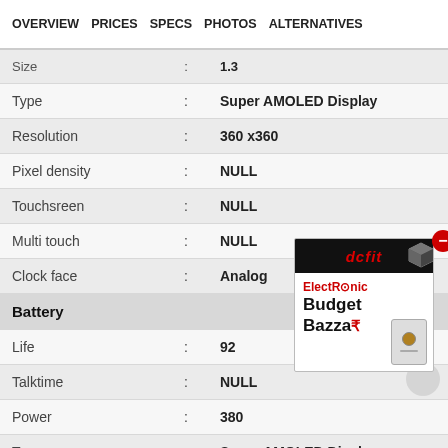OVERVIEW   PRICES   SPECS   PHOTOS   ALTERNATIVES
| Spec |  | Value |
| --- | --- | --- |
| Size | : | 1.3 |
| Type | : | Super AMOLED Display |
| Resolution | : | 360 x360 |
| Pixel density | : | NULL |
| Touchsreen | : | NULL |
| Multi touch | : | NULL |
| Clock face | : | Analog |
| Battery |  |  |
| Life | : | 92 |
| Talktime | : | NULL |
| Power | : | 380 |
| Type | : | Super AMOLED Display |
[Figure (other): Electronic Budget Bazza advertisement box with red brand logo and device image]